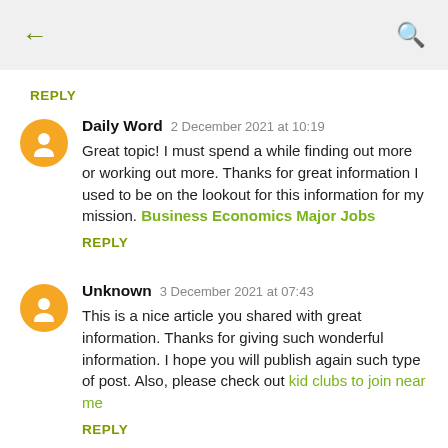[Figure (screenshot): Mobile app top navigation bar with back arrow and search icon on gray background]
REPLY
Daily Word  2 December 2021 at 10:19
Great topic! I must spend a while finding out more or working out more. Thanks for great information I used to be on the lookout for this information for my mission. Business Economics Major Jobs
REPLY
Unknown  3 December 2021 at 07:43
This is a nice article you shared with great information. Thanks for giving such wonderful information. I hope you will publish again such type of post. Also, please check out kid clubs to join near me
REPLY